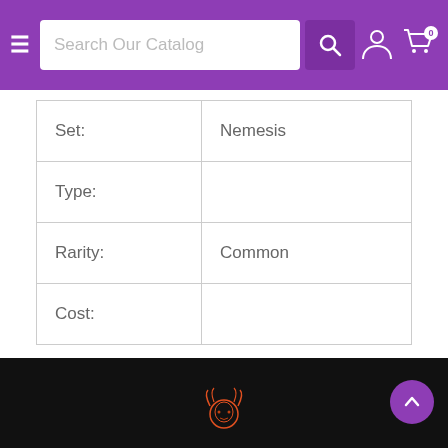Search Our Catalog
| Field | Value |
| --- | --- |
| Set: | Nemesis |
| Type: |  |
| Rarity: | Common |
| Cost: |  |